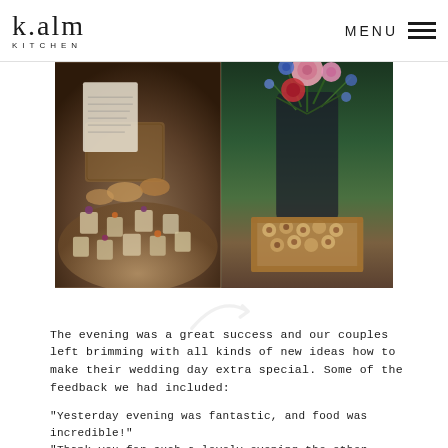k.alm KITCHEN | MENU
[Figure (photo): Two side-by-side photos: left shows a round table with canapés and desserts in small glasses with floral garnishes; right shows a person holding a wooden tray with canapés topped with flowers arranged on top]
The evening was a great success and our couples left brimming with all kinds of new ideas how to make their wedding day extra special. Some of the feedback we had included:
"Yesterday evening was fantastic, and food was incredible!"
"Thank you for such a lovely evening the other night, we really enjoyed it and so so excited!"
"Thank you so much for having us last night. We both really enjoyed ourselves and left feeling very